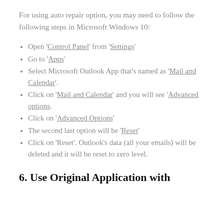For using auto repair option, you may need to follow the following steps in Microsoft Windows 10:
Open 'Control Panel' from 'Settings'
Go to 'Apps'
Select Microsoft Outlook App that's named as 'Mail and Calendar'.
Click on 'Mail and Calendar' and you will see 'Advanced options.
Click on 'Advanced Options'
The second last option will be 'Reset'
Click on 'Reset'. Outlook's data (all your emails) will be deleted and it will be reset to zero level.
6. Use Original Application with